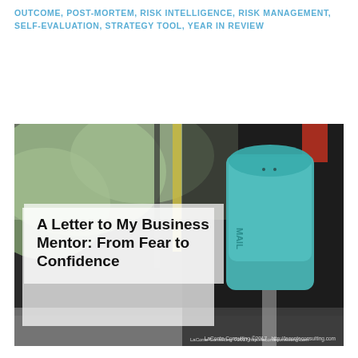OUTCOME, POST-MORTEM, RISK INTELLIGENCE, RISK MANAGEMENT, SELF-EVALUATION, STRATEGY TOOL, YEAR IN REVIEW
[Figure (photo): Photo of a teal/turquoise metal mailbox with text overlay reading 'A Letter to My Business Mentor: From Fear to Confidence'. Background shows blurred outdoor scene. Watermark: LaConte Consulting ©2017 http://laconteconsulting.com]